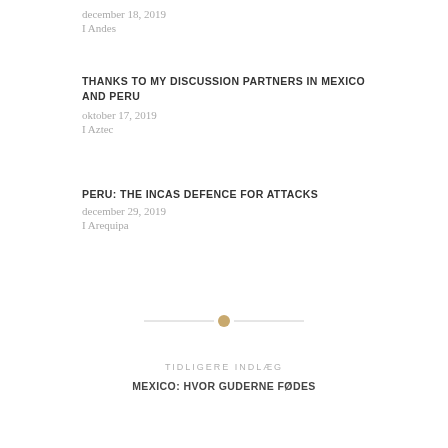december 18, 2019
I Andes
THANKS TO MY DISCUSSION PARTNERS IN MEXICO AND PERU
oktober 17, 2019
I Aztec
PERU: THE INCAS DEFENCE FOR ATTACKS
december 29, 2019
I Arequipa
[Figure (other): Decorative horizontal divider with a golden dot in the center flanked by thin gray lines]
TIDLIGERE INDLÆG
MEXICO: HVOR GUDERNE FØDES